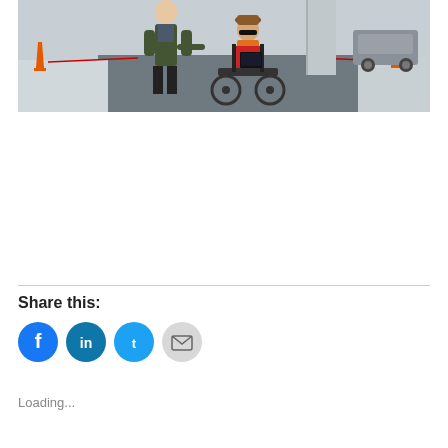[Figure (photo): Two people outdoors in a snowy parking lot. One person standing wearing a dark jacket and grey t-shirt, the other person seated in a motorized wheelchair wearing a red jacket with an orange scarf and a brown hat. Traffic cones and a car visible in the background.]
Share this:
[Figure (other): Social sharing buttons: Facebook (blue circle), LinkedIn (teal circle), Twitter (light blue circle), Email (light grey circle)]
Loading...